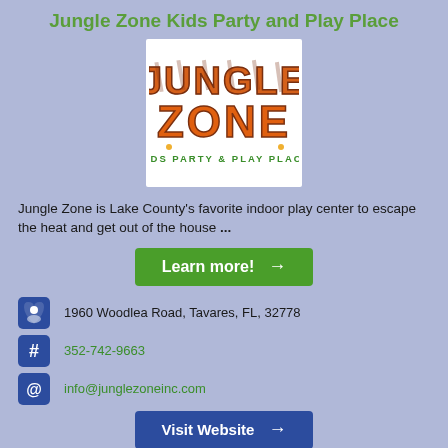Jungle Zone Kids Party and Play Place
[Figure (logo): Jungle Zone Kids Party & Play Place logo with colorful jungle-themed lettering on white background]
Jungle Zone is Lake County's favorite indoor play center to escape the heat and get out of the house ...
Learn more! →
1960 Woodlea Road, Tavares, FL, 32778
352-742-9663
info@junglezoneinc.com
Visit Website →
Visit Social Media Page →